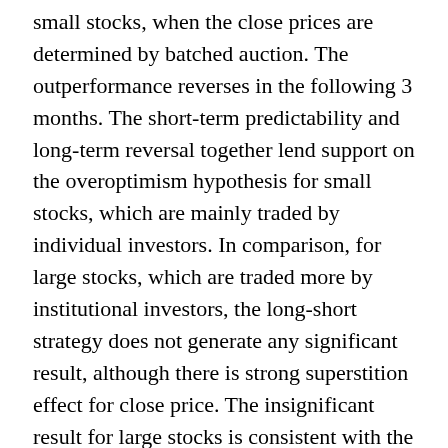small stocks, when the close prices are determined by batched auction. The outperformance reverses in the following 3 months. The short-term predictability and long-term reversal together lend support on the overoptimism hypothesis for small stocks, which are mainly traded by individual investors. In comparison, for large stocks, which are traded more by institutional investors, the long-short strategy does not generate any significant result, although there is strong superstition effect for close price. The insignificant result for large stocks is consistent with the anchoring hypothesis.
Superstition in the bond market
Bond primary market: Our bond issuance data are collected from CSMAR during the period from